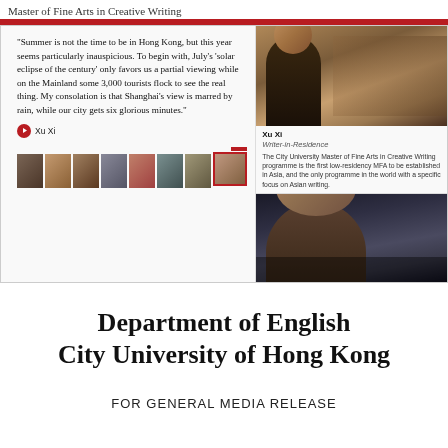Master of Fine Arts in Creative Writing
[Figure (screenshot): Screenshot of a webpage showing the MFA in Creative Writing programme. Left side shows a quote by Xu Xi about Hong Kong summer and a solar eclipse. Right side shows photos of Xu Xi (Writer-in-Residence) and another person, along with programme description. Bottom shows a row of faculty/writer thumbnails.]
"Summer is not the time to be in Hong Kong, but this year seems particularly inauspicious. To begin with, July's 'solar eclipse of the century' only favors us a partial viewing while on the Mainland some 3,000 tourists flock to see the real thing. My consolation is that Shanghai's view is marred by rain, while our city gets six glorious minutes."
Xu Xi
Xu Xi
Writer-in-Residence
The City University Master of Fine Arts in Creative Writing programme is the first low-residency MFA to be established in Asia, and the only programme in the world with a specific focus on Asian writing.
Department of English
City University of Hong Kong
FOR GENERAL MEDIA RELEASE